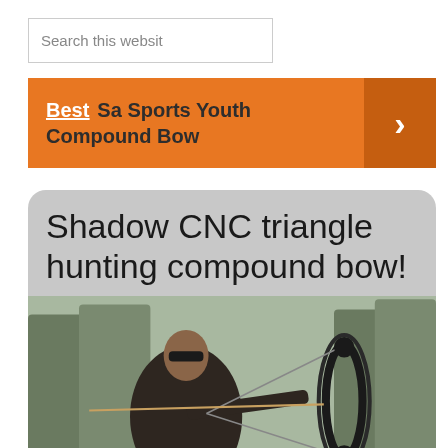Search this website
Best Sa Sports Youth Compound Bow
Shadow CNC triangle hunting compound bow!
[Figure (photo): A man wearing sunglasses and a dark jacket aiming a compound bow outdoors in a wooded area]